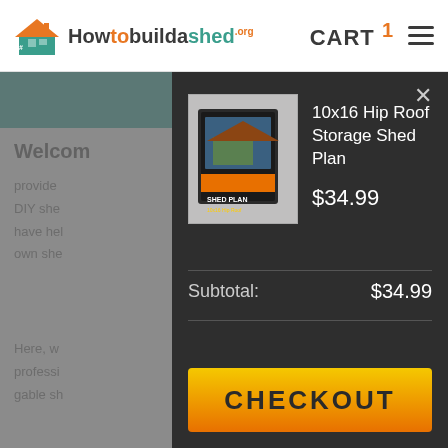[Figure (logo): Howtobuildashed.org logo with house icon in teal and orange]
CART 1
[Figure (screenshot): Shopping cart modal overlay showing product: 10x16 Hip Roof Storage Shed Plan at $34.99, subtotal $34.99, and a CHECKOUT button]
10x16 Hip Roof Storage Shed Plan
$34.99
Subtotal:
$34.99
CHECKOUT